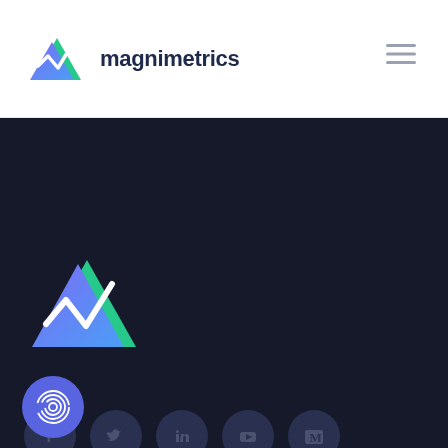[Figure (logo): Magnimetrics logo in header: green and blue/purple triangle M shape with zigzag line]
magnimetrics
[Figure (logo): Magnimetrics logo large version in dark background area]
[Figure (infographic): Row of 5 social media icon circles: Facebook, Twitter, LinkedIn, YouTube, Medium]
Product
How it works
Features
[Figure (other): Blue circular fingerprint/accessibility button in bottom left corner]